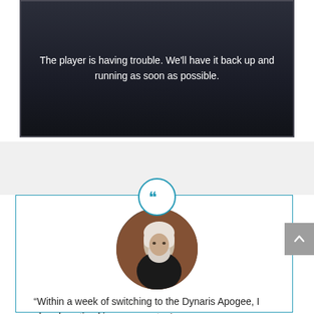[Figure (screenshot): Video player with dark background showing error message: 'The player is having trouble. We'll have it back up and running as soon as possible.']
The player is having trouble. We'll have it back up and running as soon as possible.
[Figure (photo): Circular portrait photo of an older man with white hair and beard, wearing a dark shirt, seated in a relaxed pose indoors.]
“Within a week of switching to the Dynaris Apogee, I already noticed improvements. I